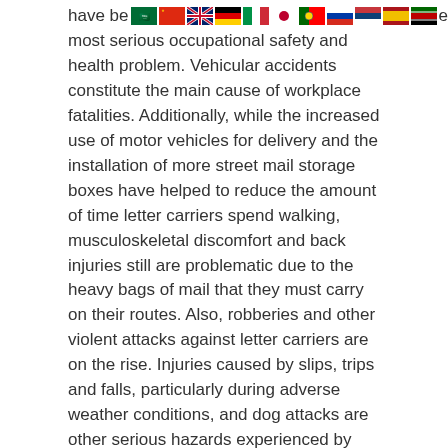have be [flags] est and most serious occupational safety and health problem. Vehicular accidents constitute the main cause of workplace fatalities. Additionally, while the increased use of motor vehicles for delivery and the installation of more street mail storage boxes have helped to reduce the amount of time letter carriers spend walking, musculoskeletal discomfort and back injuries still are problematic due to the heavy bags of mail that they must carry on their routes. Also, robberies and other violent attacks against letter carriers are on the rise. Injuries caused by slips, trips and falls, particularly during adverse weather conditions, and dog attacks are other serious hazards experienced by letter carriers. Unfortunately, other than increased awareness not much can be done to eliminate these particular hazards.
Steps designed to reduce the likelihood of vehicular accidents include installing anti-lock brakes and extra mirrors to improve visibility, increasing seat belt usage, improving driver training,